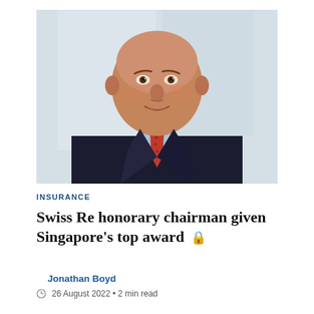[Figure (photo): Portrait photograph of a middle-aged bald man in a dark suit with a red tie and light blue shirt, smiling slightly, with a blurred light background]
INSURANCE
Swiss Re honorary chairman given Singapore's top award 🔒
Jonathan Boyd
26 August 2022 • 2 min read